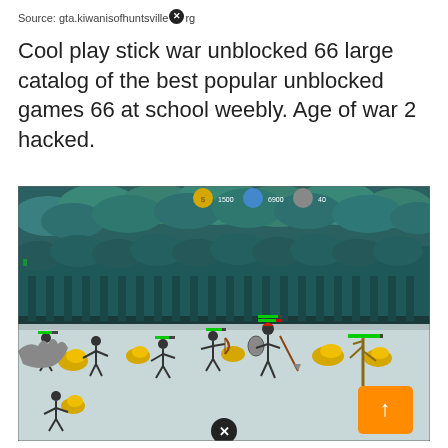Source: gta.kiwanisofhuntsvilleÃ.org
Cool play stick war unblocked 66 large catalog of the best popular unblocked games 66 at school weebly. Age of war 2 hacked.
[Figure (screenshot): Screenshot of a stick war unblocked game showing stick figures battling in a fantasy landscape with teal forest background, gold coins, and an orange scroll button. A close/X button appears at the bottom center.]